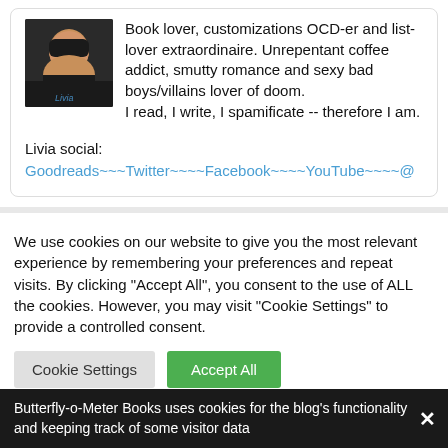Book lover, customizations OCD-er and list-lover extraordinaire. Unrepentant coffee addict, smutty romance and sexy bad boys/villains lover of doom. I read, I write, I spamificate -- therefore I am.
Livia social: Goodreads~~~Twitter~~~~Facebook~~~~YouTube~~~~@
We use cookies on our website to give you the most relevant experience by remembering your preferences and repeat visits. By clicking "Accept All", you consent to the use of ALL the cookies. However, you may visit "Cookie Settings" to provide a controlled consent.
Butterfly-o-Meter Books uses cookies for the blog's functionality and keeping track of some visitor data